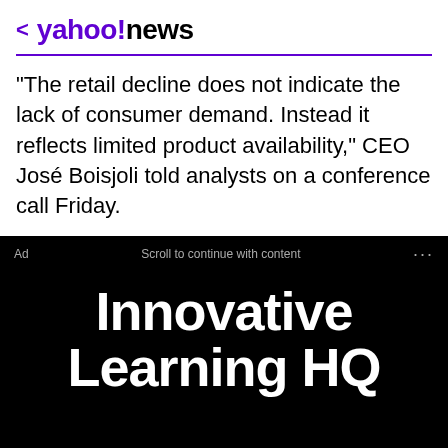< yahoo!news
"The retail decline does not indicate the lack of consumer demand. Instead it reflects limited product availability," CEO José Boisjoli told analysts on a conference call Friday.
[Figure (screenshot): Advertisement banner with black background showing 'Innovative Learning HQ' in large white bold text, with 'Ad' and 'Scroll to continue with content' labels at top, and 'Get started' text at bottom.]